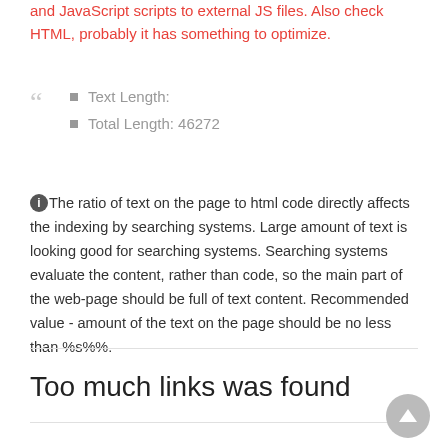and JavaScript scripts to external JS files. Also check HTML, probably it has something to optimize.
Text Length:
Total Length: 46272
The ratio of text on the page to html code directly affects the indexing by searching systems. Large amount of text is looking good for searching systems. Searching systems evaluate the content, rather than code, so the main part of the web-page should be full of text content. Recommended value - amount of the text on the page should be no less than %s%%.
Too much links was found